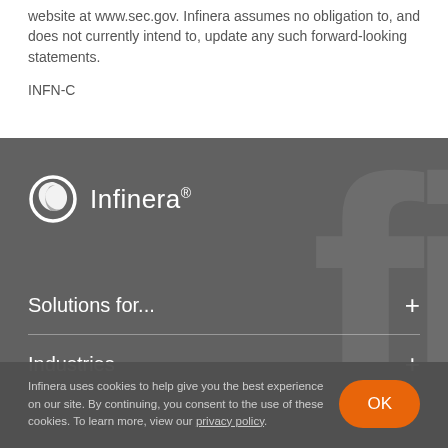website at www.sec.gov. Infinera assumes no obligation to, and does not currently intend to, update any such forward-looking statements.
INFN-C
[Figure (logo): Infinera logo — circular swoosh icon in white followed by the word 'Infinera' with a registered trademark superscript, on a dark grey background]
Solutions for...
Industries
Infinera uses cookies to help give you the best experience on our site. By continuing, you consent to the use of these cookies. To learn more, view our privacy policy.